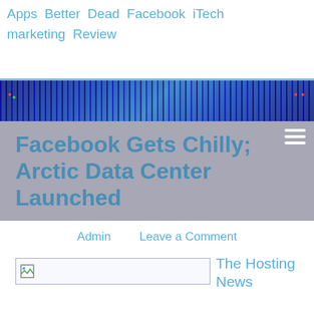Apps Better Dead Facebook iTech marketing Review
[Figure (photo): Blue/purple technology data center banner image with vertical light streaks and small colored indicator dots]
Facebook Gets Chilly; Arctic Data Center Launched
Admin   Leave a Comment
[Figure (photo): Broken image placeholder thumbnail]
The Hosting News